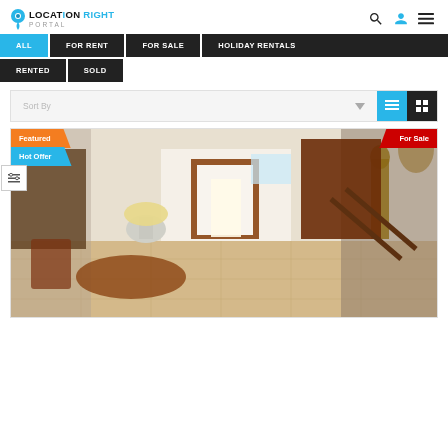[Figure (logo): Right Location Portal logo with blue pin icon]
ALL
FOR RENT
FOR SALE
HOLIDAY RENTALS
RENTED
SOLD
Sort By
[Figure (photo): Interior of a home showing living/dining area with red-brown doors, decorative statue, wooden furniture, tile floor, and staircase railing. Badges: Featured, Hot Offer, For Sale.]